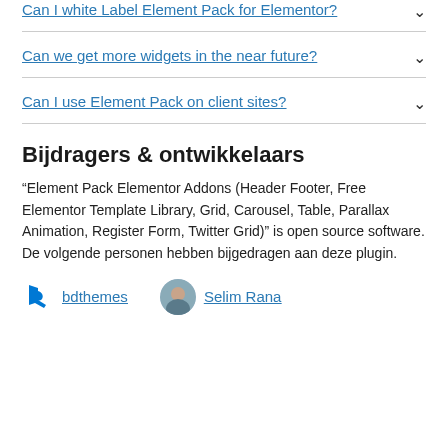Can I white Label Element Pack for Elementor?
Can we get more widgets in the near future?
Can I use Element Pack on client sites?
Bijdragers & ontwikkelaars
“Element Pack Elementor Addons (Header Footer, Free Elementor Template Library, Grid, Carousel, Table, Parallax Animation, Register Form, Twitter Grid)” is open source software. De volgende personen hebben bijgedragen aan deze plugin.
bdthemes   Selim Rana